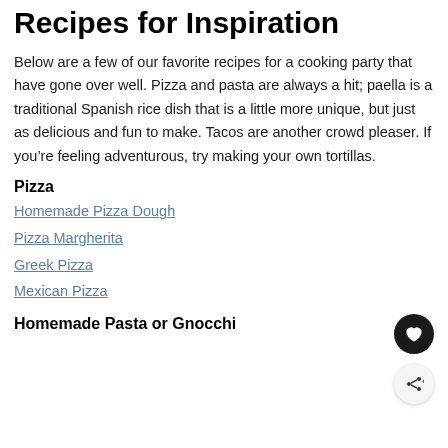Recipes for Inspiration
Below are a few of our favorite recipes for a cooking party that have gone over well. Pizza and pasta are always a hit; paella is a traditional Spanish rice dish that is a little more unique, but just as delicious and fun to make. Tacos are another crowd pleaser. If you’re feeling adventurous, try making your own tortillas.
Pizza
Homemade Pizza Dough
Pizza Margherita
Greek Pizza
Mexican Pizza
Homemade Pasta or Gnocchi